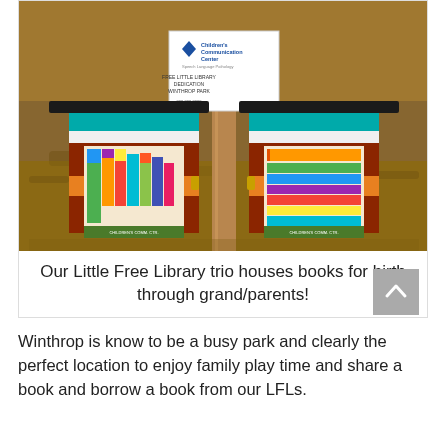[Figure (photo): A Little Free Library outdoor book box mounted on a post at Winthrop Park. The wooden structure is painted red, teal, white, and orange, with two compartments filled with children's books. A sign on top reads Children's Communication Center and FREE LITTLE LIBRARY DEDICATION WINTHROP PARK.]
Our Little Free Library trio houses books for birth through grand/parents!
Winthrop is know to be a busy park and clearly the perfect location to enjoy family play time and share a book and borrow a book from our LFLs.